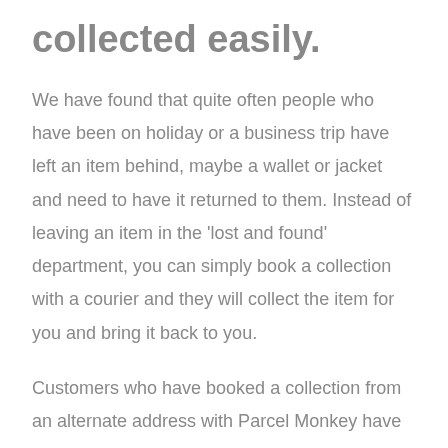collected easily.
We have found that quite often people who have been on holiday or a business trip have left an item behind, maybe a wallet or jacket and need to have it returned to them. Instead of leaving an item in the 'lost and found' department, you can simply book a collection with a courier and they will collect the item for you and bring it back to you.
Customers who have booked a collection from an alternate address with Parcel Monkey have had their